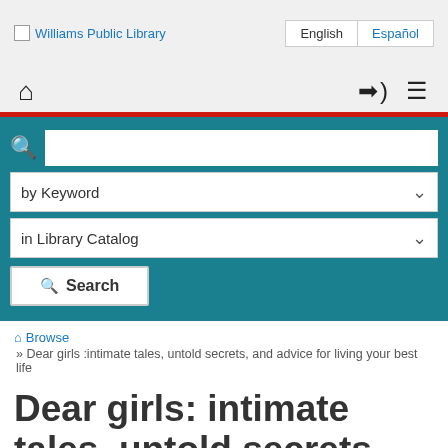Williams Public Library
English | Español
[Figure (screenshot): Navigation bar with home icon, login icon, and hamburger menu icon]
[Figure (screenshot): Search bar with search icon, keyword dropdown, library catalog dropdown, and Search button on teal background]
Browse » Dear girls :intimate tales, untold secrets, and advice for living your best life
Dear girls: intimate tales, untold secrets,